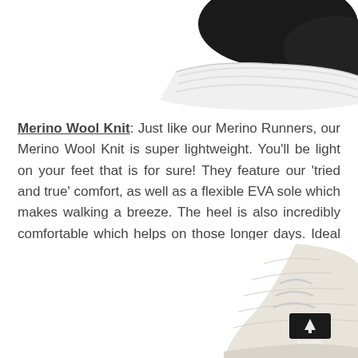[Figure (photo): Close-up photo of a black mesh sneaker sole/bottom, white EVA sole visible, cropped at top of page]
Merino Wool Knit: Just like our Merino Runners, our Merino Wool Knit is super lightweight. You'll be light on your feet that is for sure! They feature our 'tried and true' comfort, as well as a flexible EVA sole which makes walking a breeze. The heel is also incredibly comfortable which helps on those longer days. Ideal for a casual look or pair these sneakers with suits for more of a business feel.
[Figure (photo): Close-up photo of a cream/white knit sneaker with a Bosswein brand tag, laces visible, bottom-right of page]